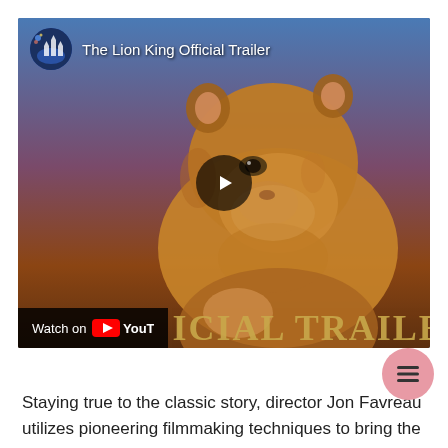[Figure (screenshot): YouTube video thumbnail for 'The Lion King Official Trailer' showing a photorealistic lion cub facing right against a blue-orange sky. The video overlay shows the Disney channel icon, the video title, a play button in the center, and a 'Watch on YouTube' badge at the bottom left with golden 'OFFICIAL TRAILER' text partially visible.]
[Figure (other): Pink circular menu/hamburger button with three horizontal lines, positioned at the bottom right of the video.]
Staying true to the classic story, director Jon Favreau utilizes pioneering filmmaking techniques to bring the